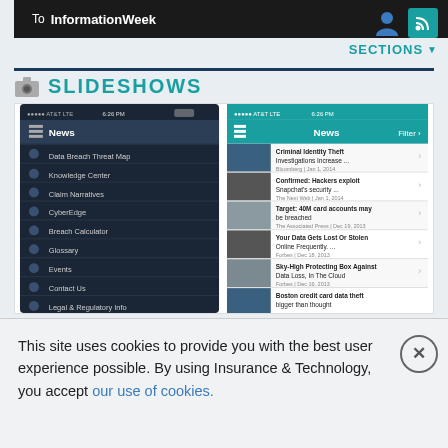To InformationWeek
SLIDESHOWS
[Figure (screenshot): Screenshot of a mobile app showing two phone screens side by side. Left screen shows a dark navigation menu with items: News, Data Breach Threat Map, Knowledge Center, Claim Narratives, CyberEdge, Breach Calculator, Glossary, Events, Contact Us, Legal & Regulatory Info, Favorites, and more. Right screen shows a News list with articles including: Criminal Identity Theft Investigations Increase..., Confirmed: Hackers exploit Snapchat's security..., Target: 40M card accounts may be breached, Your Data Gets Lost Or Stolen Online Frequently..., Sky-High Protecting Box Against Data Loss, In The Cloud, Boston credit card data theft bigger than thought, JPMorgan Chase: Job aid applicants data breached.]
This site uses cookies to provide you with the best user experience possible. By using Insurance & Technology, you accept our use of cookies.